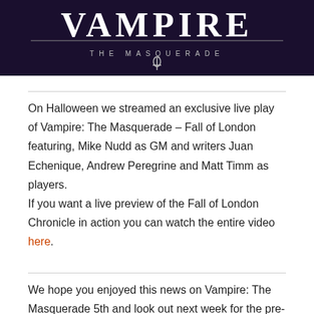[Figure (logo): Vampire: The Masquerade logo on dark purple/black background, with large stylized 'VAMPIRE' text and subtitle 'THE MASQUERADE' with decorative lines and ankh symbol]
On Halloween we streamed an exclusive live play of Vampire: The Masquerade – Fall of London featuring, Mike Nudd as GM and writers Juan Echenique, Andrew Peregrine and Matt Timm as players. If you want a live preview of the Fall of London Chronicle in action you can watch the entire video here.
We hope you enjoyed this news on Vampire: The Masquerade 5th and look out next week for the pre-order of Fall of London to launch and the Cults of the